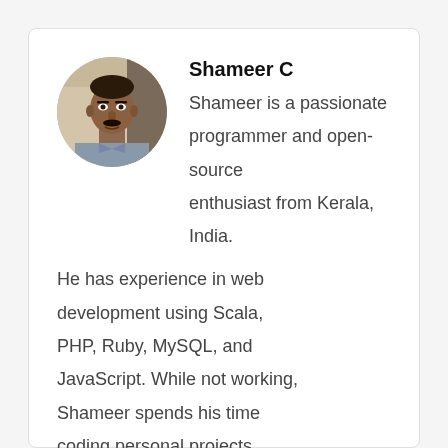[Figure (photo): Circular profile photo of Shameer C, a man with a mustache wearing a light blue shirt, photographed indoors.]
Shameer C
Shameer is a passionate programmer and open-source enthusiast from Kerala, India. He has experience in web development using Scala, PHP, Ruby, MySQL, and JavaScript. While not working, Shameer spends his time coding personal projects, learning, watching screen casts, blogging, etc. His specific areas of interest